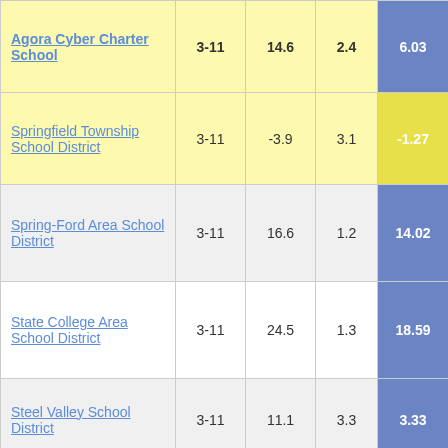| School/District | Grades | Col3 | Col4 | Score |
| --- | --- | --- | --- | --- |
| Agora Cyber Charter School | 3-11 | 14.6 | 2.4 | 6.03 |
| Springfield Township School District | 3-11 | -3.9 | 3.1 | -1.27 |
| Spring-Ford Area School District | 3-11 | 16.6 | 1.2 | 14.02 |
| State College Area School District | 3-11 | 24.5 | 1.3 | 18.59 |
| Steel Valley School District | 3-11 | 11.1 | 3.3 | 3.33 |
| Steelton-Highspire School District | 3-11 | -5.3 | 3.2 | -1.65 |
| Sto-Rox School District | 3-10 | -7.0 | 3.5 | -1.99 |
| Stroudsburg |  |  |  |  |